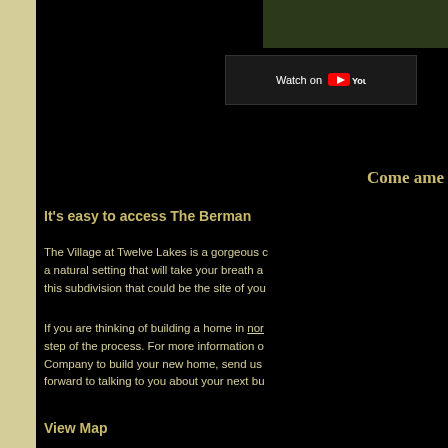[Figure (photo): Partial view of a dark outdoor/nature scene at top right of page]
[Figure (screenshot): YouTube 'Watch on YouTube' dark banner button]
Come ame
It's easy to access The Berman
The Village at Twelve Lakes is a gorgeous a natural setting that will take your breath a this subdivision that could be the site of yo
If you are thinking of building a home in nor step of the process. For more information o Company to build your new home, send us forward to talking to you about your next bu
View Map